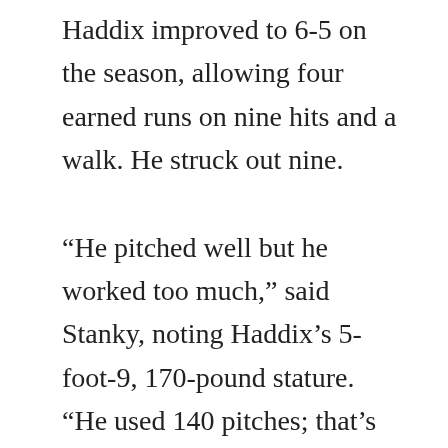Haddix improved to 6-5 on the season, allowing four earned runs on nine hits and a walk. He struck out nine.
“He pitched well but he worked too much,” said Stanky, noting Haddix’s 5-foot-9, 170-pound stature. “He used 140 pitches; that’s too much wasted effort for a fellow of his physique. He’s rugged but not gib enough to stand that kind of wear and tear.”[4]
Moon may have missed his chance at tying the stolen base record, but he continued to make